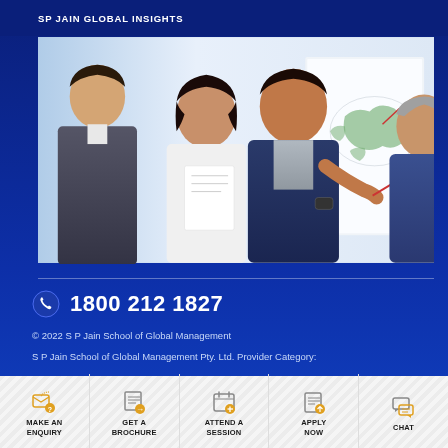SP JAIN GLOBAL INSIGHTS
[Figure (photo): Group of diverse students smiling and discussing in front of a whiteboard with a world map; collaborative classroom/workshop setting]
1800 212 1827
© 2022 S P Jain School of Global Management
S P Jain School of Global Management Pty. Ltd. Provider Category:
MAKE AN ENQUIRY
GET A BROCHURE
ATTEND A SESSION
APPLY NOW
CHAT